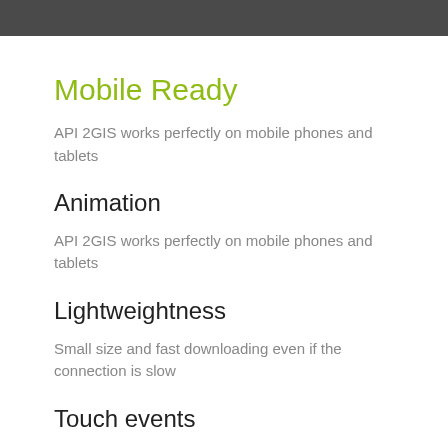Mobile Ready
API 2GIS works perfectly on mobile phones and tablets
Animation
API 2GIS works perfectly on mobile phones and tablets
Lightweightness
Small size and fast downloading even if the connection is slow
Touch events